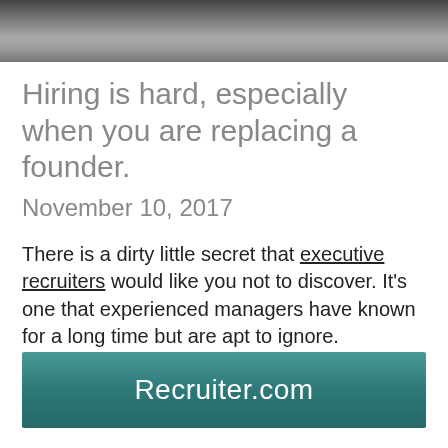[Figure (photo): Greyscale image at top of page, appears to show a landscape or path scene]
Hiring is hard, especially when you are replacing a founder.
November 10, 2017
There is a dirty little secret that executive recruiters would like you not to discover. It's one that experienced managers have known for a long time but are apt to ignore.
Recruiter.com